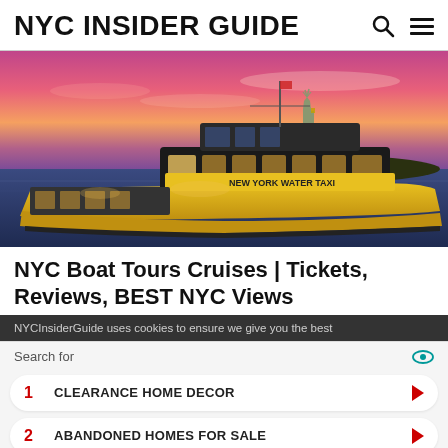NYC INSIDER GUIDE
[Figure (photo): A yellow New York Water Taxi boat with the Statue of Liberty visible in the background against a vivid pink and purple sunset sky.]
NYC Boat Tours Cruises | Tickets, Reviews, BEST NYC Views
NYCInsiderGuide uses cookies to ensure we give you the best
Search for
1  CLEARANCE HOME DECOR
2  ABANDONED HOMES FOR SALE